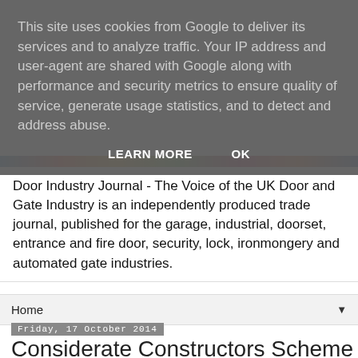This site uses cookies from Google to deliver its services and to analyze traffic. Your IP address and user-agent are shared with Google along with performance and security metrics to ensure quality of service, generate usage statistics, and to detect and address abuse.
LEARN MORE   OK
Door Industry Journal - The Voice of the UK Door and Gate Industry is an independently produced trade journal, published for the garage, industrial, doorset, entrance and fire door, security, lock, ironmongery and automated gate industries.
Home
Friday, 17 October 2014
Considerate Constructors Scheme launches initiative to help tackle inappropriate language in the